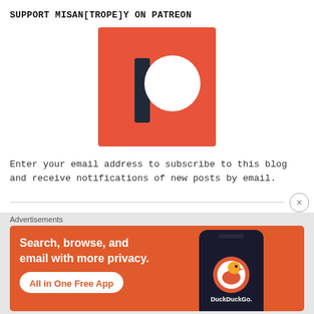SUPPORT MISAN[TROPE]Y ON PATREON
[Figure (logo): Patreon logo: orange/red square with dark navy vertical bar and white circle]
Enter your email address to subscribe to this blog and receive notifications of new posts by email.
[Figure (illustration): DuckDuckGo advertisement banner: orange background with text 'Search, browse, and email with more privacy. All in One Free App' and a smartphone showing the DuckDuckGo app with logo and brand name]
Advertisements